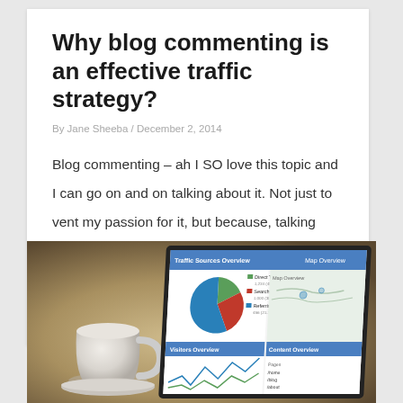Why blog commenting is an effective traffic strategy?
By Jane Sheeba / December 2, 2014
Blog commenting – ah I SO love this topic and I can go on and on talking about it. Not just to vent my passion for it, but because, talking about it will help YOU as a blogger, to make the wheels roll in the right direction for your blog. If you are a blogger, you [...]
[Figure (photo): Photo of a coffee cup next to a tablet displaying a traffic/analytics dashboard with pie chart and line graph]